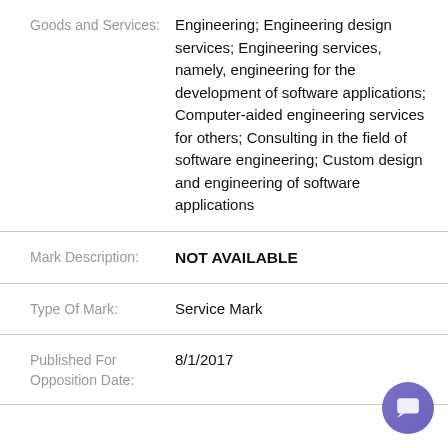Goods and Services: Engineering; Engineering design services; Engineering services, namely, engineering for the development of software applications; Computer-aided engineering services for others; Consulting in the field of software engineering; Custom design and engineering of software applications
Mark Description: NOT AVAILABLE
Type Of Mark: Service Mark
Published For Opposition Date: 8/1/2017